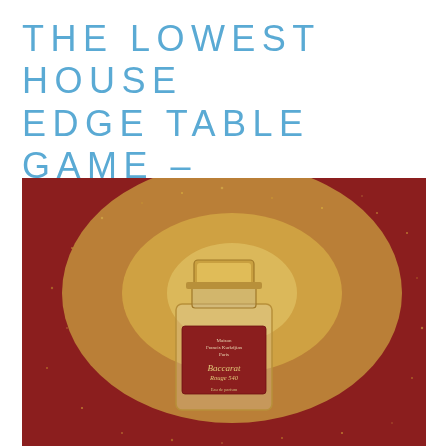THE LOWEST HOUSE EDGE TABLE GAME – BACCARAT
[Figure (photo): A Maison Francis Kurkdjian Baccarat Rouge 540 Eau de Parfum perfume bottle centered on a red and gold glittery background. The bottle is clear glass with a red label and gold cap.]